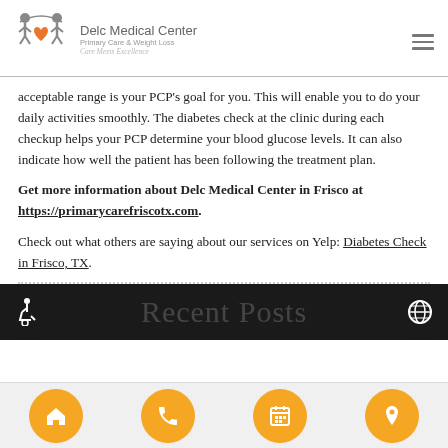Delc Medical Center — Primary Care & Weight Loss — Care Meets Excellence
acceptable range is your PCP’s goal for you. This will enable you to do your daily activities smoothly. The diabetes check at the clinic during each checkup helps your PCP determine your blood glucose levels. It can also indicate how well the patient has been following the treatment plan.
Get more information about Delc Medical Center in Frisco at https://primarycarefriscotx.com.
Check out what others are saying about our services on Yelp: Diabetes Check in Frisco, TX.
Recent Posts